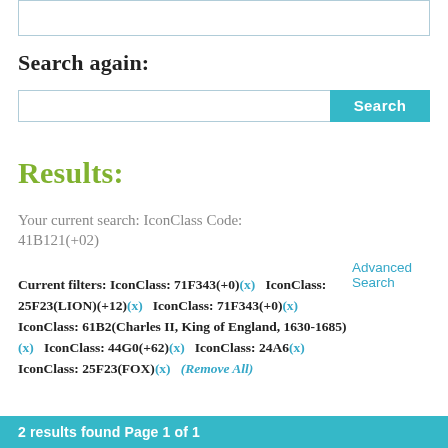Search again:
Search (input box with Search button) and Advanced Search link
Results:
Your current search: IconClass Code: 41B121(+02)
Current filters: IconClass: 71F343(+0)(x)   IconClass: 25F23(LION)(+12)(x)   IconClass: 71F343(+0)(x)   IconClass: 61B2(Charles II, King of England, 1630-1685)(x)   IconClass: 44G0(+62)(x)   IconClass: 24A6(x)   IconClass: 25F23(FOX)(x)   (Remove All)
2 results found Page 1 of 1